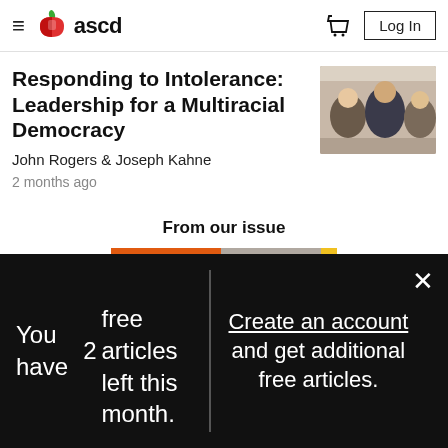ascd — navigation bar with logo, cart, and Log In button
Responding to Intolerance: Leadership for a Multiracial Democracy
John Rogers & Joseph Kahne
2 months ago
[Figure (photo): Photo of students gathered in a classroom setting, viewed from behind]
From our issue
[Figure (illustration): EL magazine cover with orange/red graphic design elements on a yellow and grey background]
You have 2 free articles left this month.
Create an account and get additional free articles.